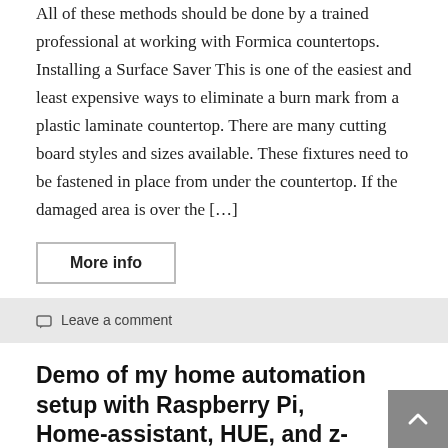All of these methods should be done by a trained professional at working with Formica countertops. Installing a Surface Saver This is one of the easiest and least expensive ways to eliminate a burn mark from a plastic laminate countertop. There are many cutting board styles and sizes available. These fixtures need to be fastened in place from under the countertop. If the damaged area is over the […]
More info
Leave a comment
Demo of my home automation setup with Raspberry Pi, Home-assistant, HUE, and z-wave
Jeff  Home Automation Videos
[Figure (photo): Partial thumbnail image visible at bottom of page, showing a reddish-orange toned photo, cut off]